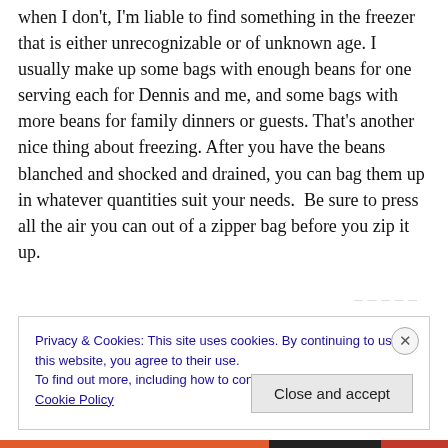when I don't, I'm liable to find something in the freezer that is either unrecognizable or of unknown age. I usually make up some bags with enough beans for one serving each for Dennis and me, and some bags with more beans for family dinners or guests. That's another nice thing about freezing. After you have the beans blanched and shocked and drained, you can bag them up in whatever quantities suit your needs.  Be sure to press all the air you can out of a zipper bag before you zip it up.
Privacy & Cookies: This site uses cookies. By continuing to use this website, you agree to their use.
To find out more, including how to control cookies, see here: Cookie Policy